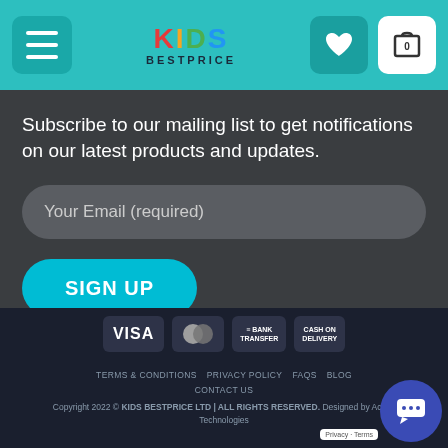KIDS BESTPRICE — navigation header with menu button, logo, heart icon, cart (0)
Subscribe to our mailing list to get notifications on our latest products and updates.
Your Email (required)
SIGN UP
[Figure (other): Payment method badges: VISA, MasterCard, BANK TRANSFER, CASH ON DELIVERY]
TERMS & CONDITIONS  PRIVACY POLICY  FAQS  BLOG  CONTACT US
Copyright 2022 © KIDS BESTPRICE LTD | ALL RIGHTS RESERVED. Designed by Acken Technologies